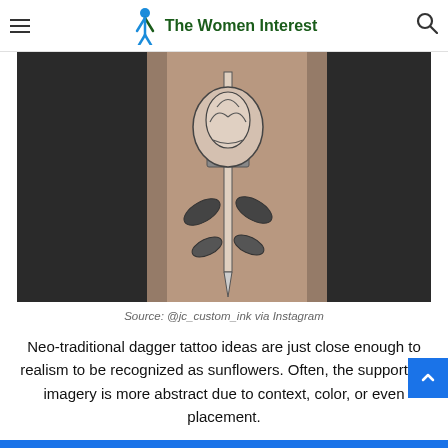The Women Interest
[Figure (photo): Close-up photo of a neo-traditional rose and dagger tattoo on a forearm, with detailed black and grey linework showing the rose petals, leaves, and a dagger piercing through.]
Source: @jc_custom_ink via Instagram
Neo-traditional dagger tattoo ideas are just close enough to realism to be recognized as sunflowers. Often, the supporting imagery is more abstract due to context, color, or even placement.